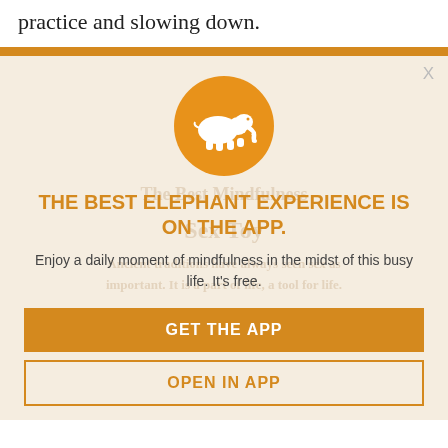practice and slowing down.
[Figure (screenshot): App promotion modal with orange elephant logo circle, headline, description text, and two buttons (GET THE APP, OPEN IN APP). Background shows faint watermark text from underlying article.]
THE BEST ELEPHANT EXPERIENCE IS ON THE APP.
Enjoy a daily moment of mindfulness in the midst of this busy life. It's free.
GET THE APP
OPEN IN APP